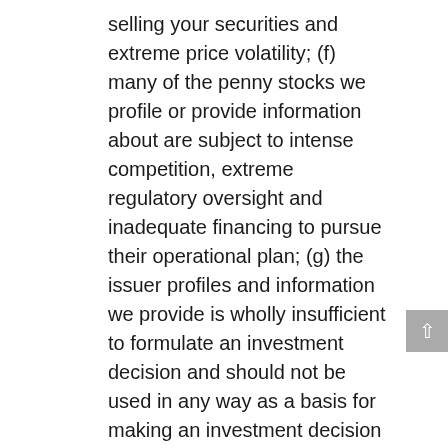selling your securities and extreme price volatility; (f) many of the penny stocks we profile or provide information about are subject to intense competition, extreme regulatory oversight and inadequate financing to pursue their operational plan; (g) the issuer profiles and information we provide is wholly insufficient to formulate an investment decision and should not be used in any way as a basis for making an investment decision and, at the most, it should be used a starting point from which you conduct an in-depth investigation of the issuer from available public sources, such as www.sec.gov, www otcmarkets.com, www.sec.gov, yahoofinance.com, www.google.com and other available public sources as well as consulting with your financial professional, investment adviser, registered representative with a registered securities broker-dealer; (h) we urge you to conduct an in-depth investigation of the issuer from the